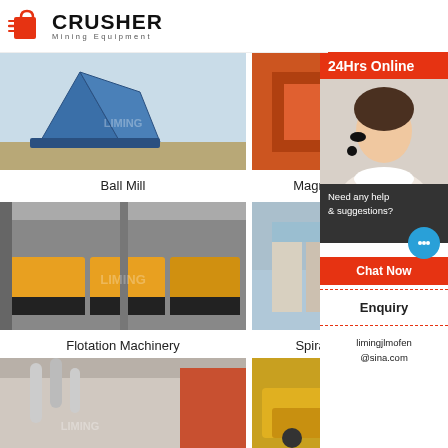[Figure (logo): Crusher Mining Equipment logo with red shopping bag icon and bold CRUSHER text]
[Figure (photo): Ball Mill machine — blue metal frame structure in outdoor industrial setting]
Ball Mill
[Figure (photo): Magnetic Separator — red metal frame machine]
Magnetic Separator
[Figure (photo): Flotation Machinery — yellow flotation cells in large industrial warehouse]
Flotation Machinery
[Figure (photo): Spiral classifier/concentrator — industrial spiral equipment outdoors]
Spiral
[Figure (photo): Industrial building with pipes and equipment — gray and orange factory exterior]
[Figure (photo): Yellow industrial machinery outdoors]
[Figure (infographic): 24Hrs Online sidebar with agent photo, chat now button, enquiry section, and email limingjlmofen@sina.com]